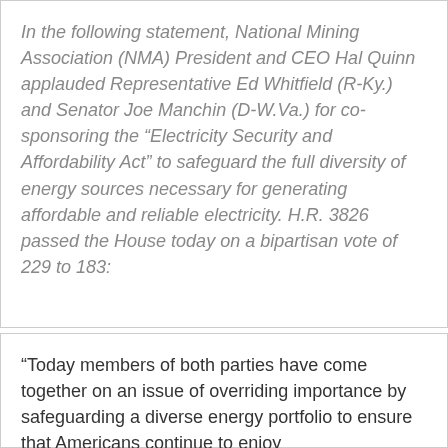In the following statement, National Mining Association (NMA) President and CEO Hal Quinn applauded Representative Ed Whitfield (R-Ky.) and Senator Joe Manchin (D-W.Va.) for co-sponsoring the “Electricity Security and Affordability Act” to safeguard the full diversity of energy sources necessary for generating affordable and reliable electricity. H.R. 3826 passed the House today on a bipartisan vote of 229 to 183:
“Today members of both parties have come together on an issue of overriding importance by safeguarding a diverse energy portfolio to ensure that Americans continue to enjoy